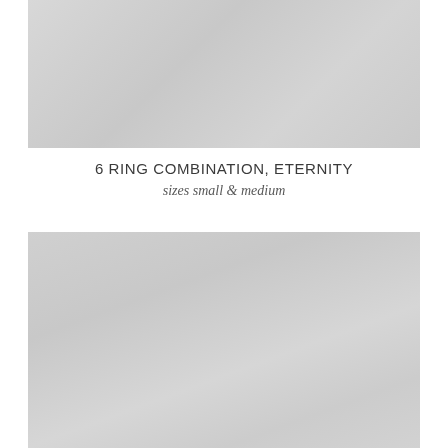[Figure (photo): Top photograph showing jewelry rings, light grey toned product image]
6 RING COMBINATION, ETERNITY
sizes small & medium
[Figure (photo): Bottom photograph showing jewelry rings, light grey toned product image, larger view]